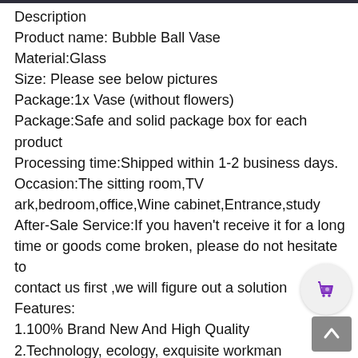Description
Product name: Bubble Ball Vase
Material:Glass
Size: Please see below pictures
Package:1x Vase (without flowers)
Package:Safe and solid package box for each product
Processing time:Shipped within 1-2 business days.
Occasion:The sitting room,TV ark,bedroom,office,Wine cabinet,Entrance,study
After-Sale Service:If you haven’t receive it for a long time or goods come broken, please do not hesitate to contact us first ,we will figure out a solution
Features:
1.100% Brand New And High Quality
2.Technology, ecology, exquisite workmanship
3.Good gifts for Christmas birthday, etc. for women, lovers. friend
4.Vase belong to hand blown, there will be some bubbles, belongs to a reasonable range